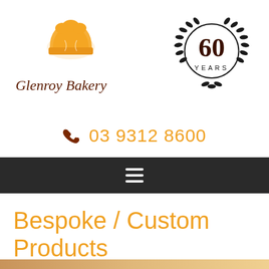[Figure (logo): Glenroy Bakery logo with chef hat in orange and brown cursive text]
[Figure (logo): 60 Years anniversary badge with laurel wreath in black and dark brown]
03 9312 8600
[Figure (other): Dark navigation bar with hamburger menu icon]
Bespoke / Custom Products